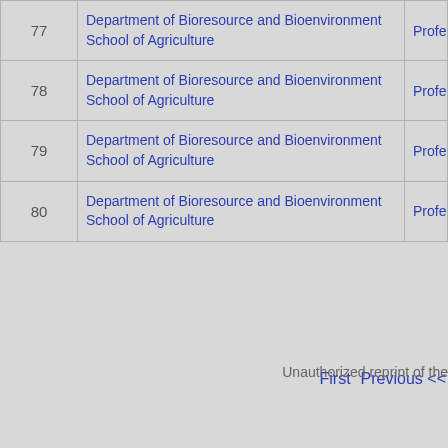| # | Department | Position |
| --- | --- | --- |
| 77 | Department of Bioresource and Bioenvironment
School of Agriculture | Profess... |
| 78 | Department of Bioresource and Bioenvironment
School of Agriculture | Profess... |
| 79 | Department of Bioresource and Bioenvironment
School of Agriculture | Profess... |
| 80 | Department of Bioresource and Bioenvironment
School of Agriculture | Profess... |
First   Previous <<
Unauthorized reprint of the